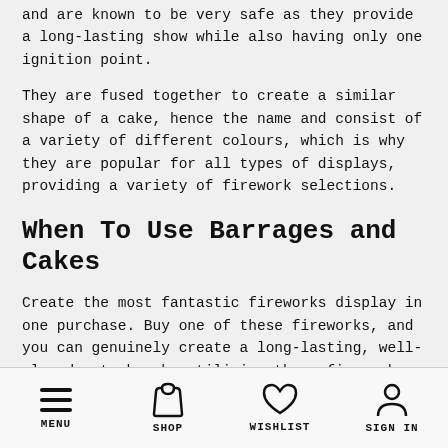and are known to be very safe as they provide a long-lasting show while also having only one ignition point.
They are fused together to create a similar shape of a cake, hence the name and consist of a variety of different colours, which is why they are popular for all types of displays, providing a variety of firework selections.
When To Use Barrages and Cakes
Create the most fantastic fireworks display in one purchase. Buy one of these fireworks, and you can genuinely create a long-lasting, well-played out show by utilising these firework cakes and barrages.
We have a variety of barrages and firework cakes for sale for all budgets, from multi-shot fireworks which last 40 seconds to lengthy displays of three minutes.
MENU  SHOP  WISHLIST  SIGN IN